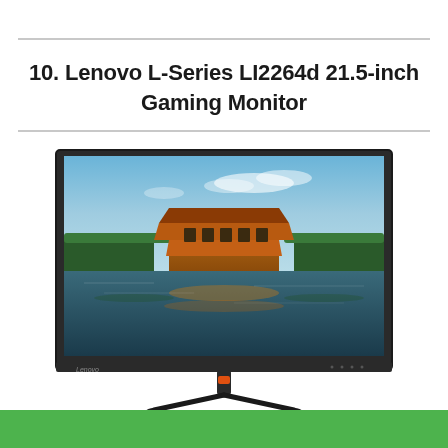10. Lenovo L-Series LI2264d 21.5-inch Gaming Monitor
[Figure (photo): Photo of a Lenovo L-Series LI2264d 21.5-inch gaming monitor showing a scenic image of a building reflected in water, with the Lenovo logo visible on the lower left of the monitor bezel. The monitor is on a slim dark stand with an orange accent.]